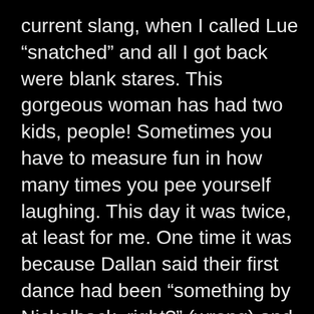current slang, when I called Lue “snatched” and all I got back were blank stares. This gorgeous woman has had two kids, people! Sometimes you have to measure fun in how many times you pee yourself laughing. This day it was twice, at least for me. One time it was because Dallan said their first dance had been “something by Nickelback, right?” (wrong) and the second time I tripped over a rock (truly, the only rock for miles) and wiped out.